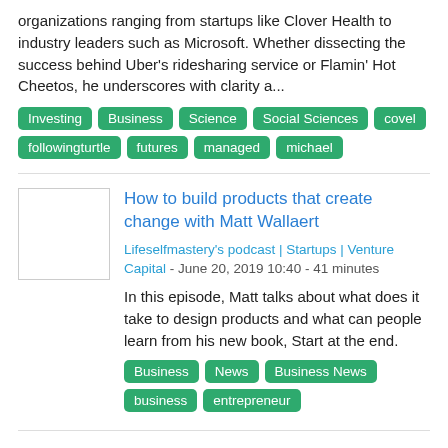organizations ranging from startups like Clover Health to industry leaders such as Microsoft. Whether dissecting the success behind Uber's ridesharing service or Flamin' Hot Cheetos, he underscores with clarity a...
Investing | Business | Science | Social Sciences | covel | followingturtle | futures | managed | michael
How to build products that create change with Matt Wallaert
Lifeselfmastery's podcast | Startups | Venture Capital - June 20, 2019 10:40 - 41 minutes
In this episode, Matt talks about what does it take to design products and what can people learn from his new book, Start at the end.
Business | News | Business News | business | entrepreneur